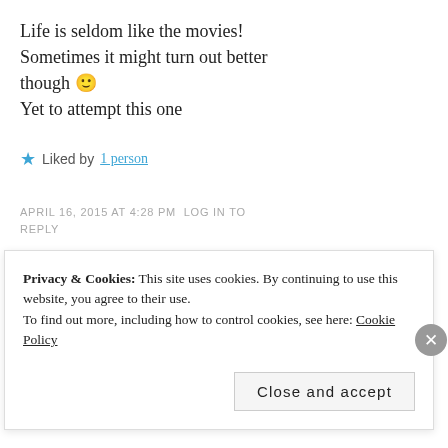Life is seldom like the movies! Sometimes it might turn out better though 🙂
Yet to attempt this one
★ Liked by 1 person
APRIL 16, 2015 AT 4:28 PM LOG IN TO REPLY
ISH ★ says:
Privacy & Cookies: This site uses cookies. By continuing to use this website, you agree to their use.
To find out more, including how to control cookies, see here: Cookie Policy
Close and accept